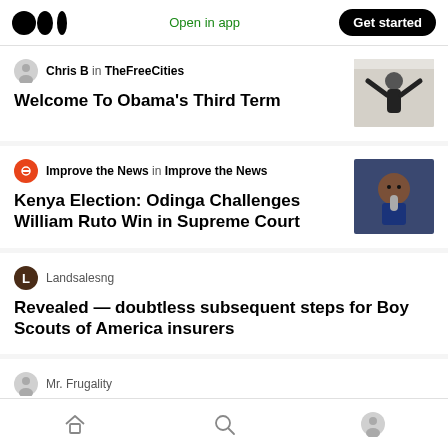Medium logo | Open in app | Get started
Chris B in TheFreeCities — Welcome To Obama's Third Term
Improve the News in Improve the News — Kenya Election: Odinga Challenges William Ruto Win in Supreme Court
Landsalesng — Revealed — doubtless subsequent steps for Boy Scouts of America insurers
Mr. Frugality — (partial title)
Home | Search | Profile